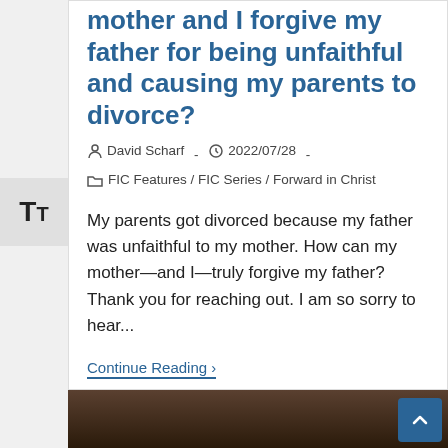mother and I forgive my father for being unfaithful and causing my parents to divorce?
David Scharf · 2022/07/28 · FIC Features / FIC Series / Forward in Christ
My parents got divorced because my father was unfaithful to my mother. How can my mother—and I—truly forgive my father?  Thank you for reaching out. I am so sorry to hear...
Continue Reading ›